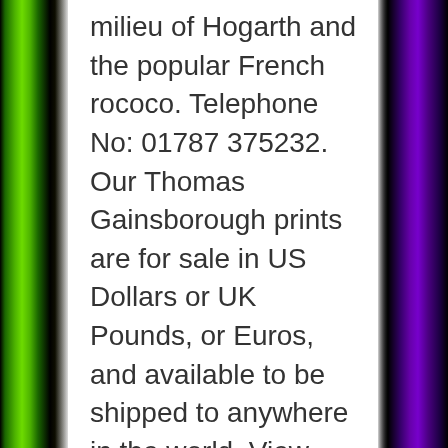milieu of Hogarth and the popular French rococo. Telephone No: 01787 375232. Our Thomas Gainsborough prints are for sale in US Dollars or UK Pounds, or Euros, and available to be shipped to anywhere in the world. View Thomas Gainsborough's 906 artworks on artnet. Low price guarantee, fast shipping & free returns, and custom framing options on all prints. Thomas Gainsborough painted Grace Dalrymple Elliott in 1782 when Grace was 24 years old, when she was at the peak of her beauty and fame. Thomas Gainsborough (14 May 1727 (baptised) – 2 August 1788) was an